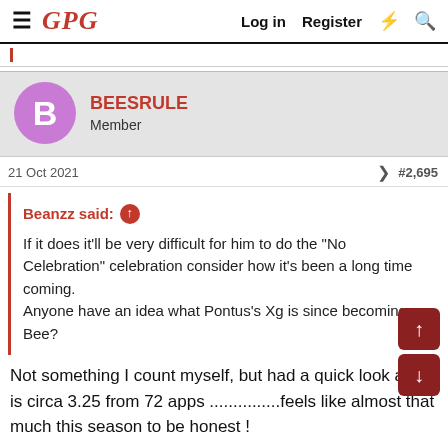GPG  Log in  Register
BEESRULE
Member
21 Oct 2021  #2,695
Beanzz said:
If it does it'll be very difficult for him to do the "No Celebration" celebration consider how it's been a long time coming.
Anyone have an idea what Pontus's Xg is since becoming a Bee?
Not something I count myself, but had a quick look and it is circa 3.25 from 72 apps ...............feels like almost that much this season to be honest !
He scored 9 from an xG of 7.36 for Leeds.